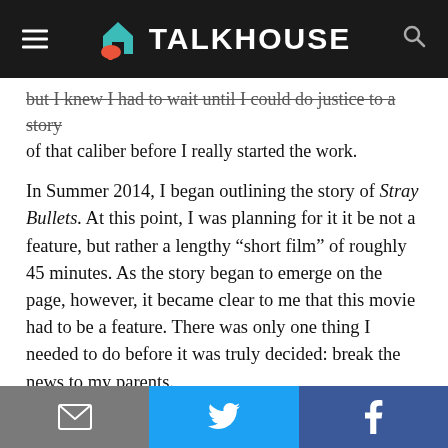TALKHOUSE
but I knew I had to wait until I could do justice to a story of that caliber before I really started the work.
In Summer 2014, I began outlining the story of Stray Bullets. At this point, I was planning for it it be not a feature, but rather a lengthy “short film” of roughly 45 minutes. As the story began to emerge on the page, however, it became clear to me that this movie had to be a feature. There was only one thing I needed to do before it was truly decided: break the news to my parents.
Privacy & Cookies: This site uses cookies. By continuing to use this website, you agree to their use.
To find out more, including how to control cookies, see here: Cookie Policy
Email | Twitter | Facebook